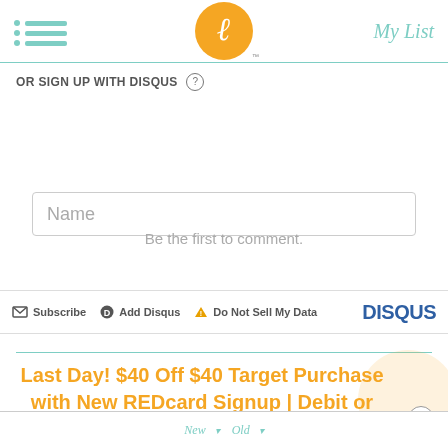[Figure (screenshot): Website header with hamburger menu (teal dots and lines), orange circular logo with cursive L and TM mark, and 'My List' text in teal italic on the right]
OR SIGN UP WITH DISQUS ?
Name
Be the first to comment.
Subscribe  Add Disqus  Do Not Sell My Data  DISQUS
Last Day! $40 Off $40 Target Purchase with New REDcard Signup | Debit or Credit!